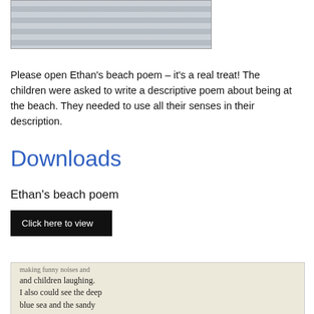[Figure (photo): Top portion of a photo showing lined notebook paper, partially visible at the top of the page.]
Please open Ethan's beach poem – it's a real treat! The children were asked to write a descriptive poem about being at the beach. They needed to use all their senses in their description.
Downloads
Ethan's beach poem
Click here to view
[Figure (photo): Photo of handwritten poem on lined paper showing text: 'making funny noises and and children laughing. I also could see the deep blue sea and the sandy...']